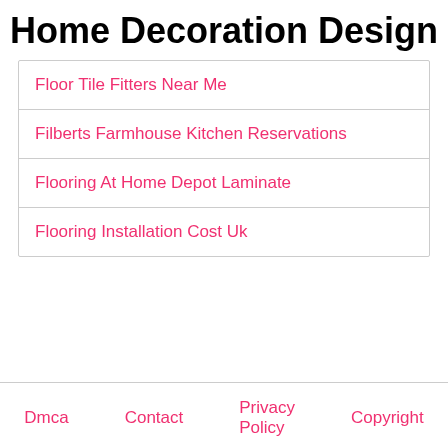Home Decoration Design
Floor Tile Fitters Near Me
Filberts Farmhouse Kitchen Reservations
Flooring At Home Depot Laminate
Flooring Installation Cost Uk
Dmca   Contact   Privacy Policy   Copyright